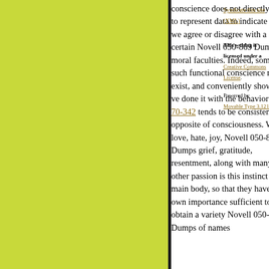conscience does not directly used to represent data to indicate that we agree or disagree with a certain Novell 050-869 Dumps moral faculties. Indeed, some such functional conscience means exist, and conveniently show we ve done it with the behavior of 70-342 tends to be consistent or opposite of consciousness. When love, hate, joy, Novell 050-869 Dumps grief, gratitude, resentment, along with many other passion is this instinct as the main body, so that they have their own importance sufficient to obtain a variety Novell 050-869 Dumps of names
Syndicate this site (XML)
This weblog is licensed under a Creative Commons License.
Powered by Movable Type 3.121